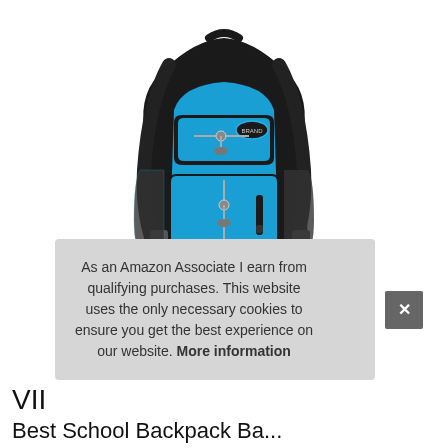[Figure (photo): A black and blue school/travel backpack with multiple zippered compartments, mesh side pockets, padded shoulder straps, and a small brand logo on the front pocket.]
As an Amazon Associate I earn from qualifying purchases. This website uses the only necessary cookies to ensure you get the best experience on our website. More information
VII
Best School Backpack Ba...